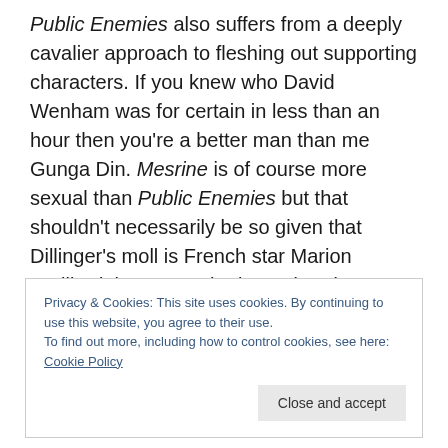Public Enemies also suffers from a deeply cavalier approach to fleshing out supporting characters. If you knew who David Wenham was for certain in less than an hour then you're a better man than me Gunga Din. Mesrine is of course more sexual than Public Enemies but that shouldn't necessarily be so given that Dillinger's moll is French star Marion Cotillard, however, she is rendered as anaemic as a long line of French actresses have been by Hollywood. It's at this point that you note that Mesrine has its cake and eats it with its introduction of Cecile de
Privacy & Cookies: This site uses cookies. By continuing to use this website, you agree to their use.
To find out more, including how to control cookies, see here: Cookie Policy